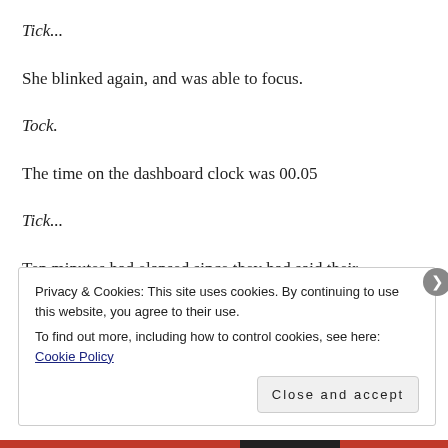Tick...
She blinked again, and was able to focus.
Tock.
The time on the dashboard clock was 00.05
Tick...
Ten minutes had elapsed since they had said their
Privacy & Cookies: This site uses cookies. By continuing to use this website, you agree to their use.
To find out more, including how to control cookies, see here: Cookie Policy
Close and accept